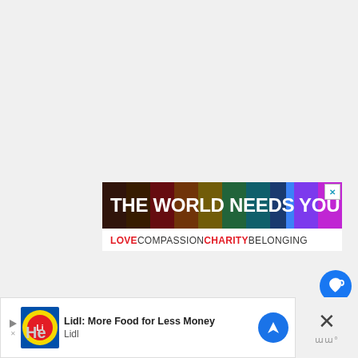[Figure (screenshot): Screenshot of a webpage showing a rainbow-colored banner advertisement reading 'THE WORLD NEEDS YOU' with tagline 'LOVE COMPASSION CHARITY BELONGING', social media UI buttons (like/share), a 'What's Next' panel showing '20+ Games like Until...', and a bottom Lidl advertisement banner.]